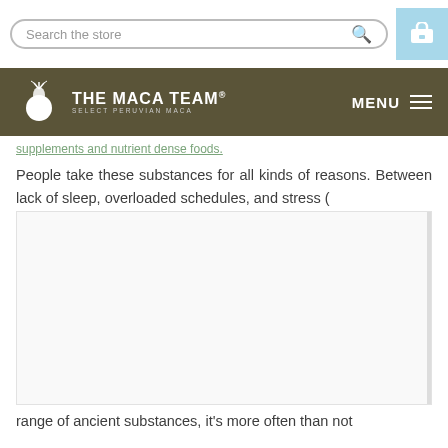Search the store
THE MACA TEAM® SELECT PERUVIAN MACA  MENU
supplements and nutrient dense foods.
People take these substances for all kinds of reasons. Between lack of sleep, overloaded schedules, and stress (
[Figure (photo): Large mostly white/blank image placeholder area, partially obscured content]
range of ancient substances, it's more often than not